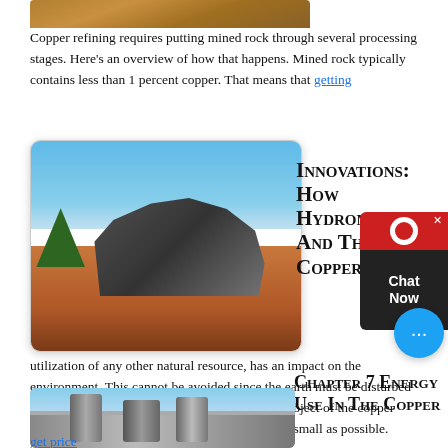[Figure (photo): Open pit copper mine with rocky terrain visible at top]
Copper refining requires putting mined rock through several processing stages. Here's an overview of how that happens. Mined rock typically contains less than 1 percent copper. That means that
[Figure (photo): Industrial mining processing equipment with conveyor belts against a blue sky, red dirt ground]
Innovations: How Hydrometallurgy And The SX/EW Copper
The production of copper, as in the utilization of any other natural resource, has an impact on the environment. This cannot be avoided since the earth must be disturbed in order to extract copper from it; however, the object of the copper mining industry has been to make this impact as small as possible.
Chapter 7 Energy Use In The Copper
[Figure (photo): Industrial copper processing facility with vertical cylindrical tanks and equipment]